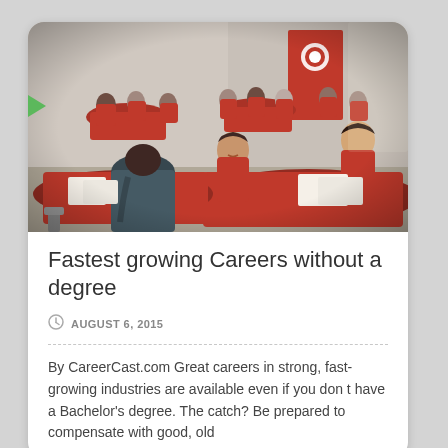[Figure (photo): Career fair or recruitment event with people in red shirts sitting at tables covered with red tablecloths, appearing to be reviewing documents or conducting interviews in a room with natural light.]
Fastest growing Careers without a degree
AUGUST 6, 2015
By CareerCast.com Great careers in strong, fast-growing industries are available even if you don t have a Bachelor's degree. The catch? Be prepared to compensate with good, old